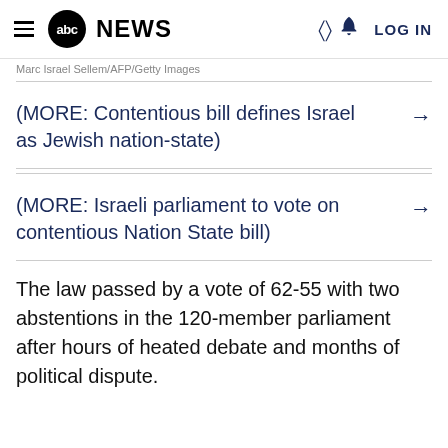abc NEWS   LOG IN
Marc Israel Sellem/AFP/Getty Images
(MORE: Contentious bill defines Israel as Jewish nation-state)
(MORE: Israeli parliament to vote on contentious Nation State bill)
The law passed by a vote of 62-55 with two abstentions in the 120-member parliament after hours of heated debate and months of political dispute.